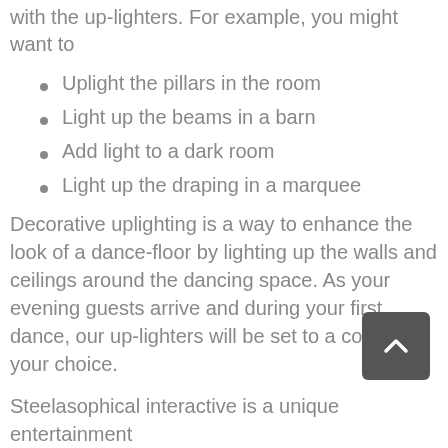with the up-lighters. For example, you might want to
Uplight the pillars in the room
Light up the beams in a barn
Add light to a dark room
Light up the draping in a marquee
Decorative uplighting is a way to enhance the look of a dance-floor by lighting up the walls and ceilings around the dancing space. As your evening guests arrive and during your first dance, our up-lighters will be set to a colour of your choice.
[Figure (other): Dark grey rounded square back-to-top button with upward chevron arrow icon]
Steelasophical interactive is a unique entertainment